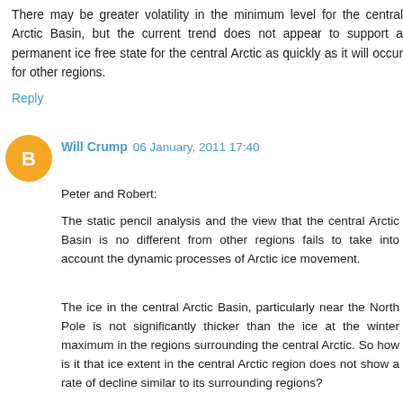There may be greater volatility in the minimum level for the central Arctic Basin, but the current trend does not appear to support a permanent ice free state for the central Arctic as quickly as it will occur for other regions.
Reply
Will Crump 06 January, 2011 17:40
Peter and Robert:
The static pencil analysis and the view that the central Arctic Basin is no different from other regions fails to take into account the dynamic processes of Arctic ice movement.
The ice in the central Arctic Basin, particularly near the North Pole is not significantly thicker than the ice at the winter maximum in the regions surrounding the central Arctic. So how is it that ice extent in the central Arctic region does not show a rate of decline similar to its surrounding regions?